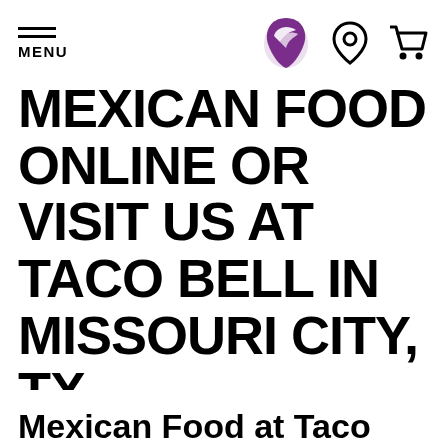MENU
MEXICAN FOOD ONLINE OR VISIT US AT TACO BELL IN MISSOURI CITY, TX
Mexican Food at Taco Bell® 5511 Highway 6